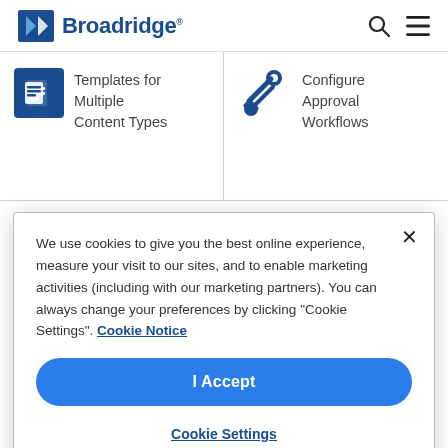Broadridge
[Figure (screenshot): Broadridge website partial screenshot showing 'Templates for Multiple Content Types' and 'Configure Approval Workflows' feature icons, with 'Omni-channel' text partially visible below]
We use cookies to give you the best online experience, measure your visit to our sites, and to enable marketing activities (including with our marketing partners). You can always change your preferences by clicking “Cookie Settings”. Cookie Notice
I Accept
Cookie Settings